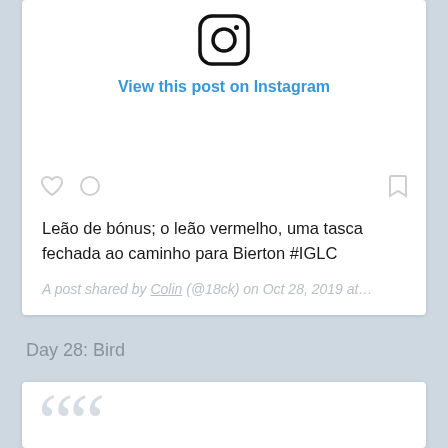[Figure (screenshot): Instagram embed card showing icon, 'View this post on Instagram' link, action icons (heart, comment, bookmark), post caption in Portuguese, and attribution line]
Leão de bónus; o leão vermelho, uma tasca fechada ao caminho para Bierton #IGLC
A post shared by Colin (@18ck) on Oct 28, 2019 at…
Day 28: Bird
[Figure (screenshot): Beginning of a quote card with large decorative quotation marks in light grey]